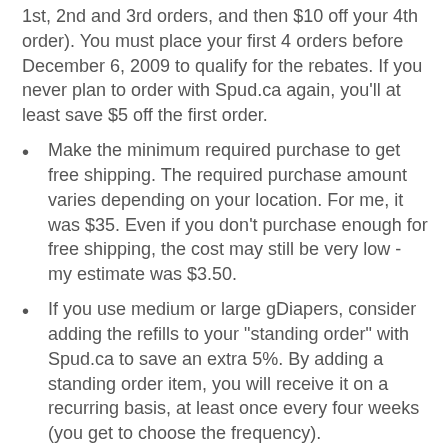1st, 2nd and 3rd orders, and then $10 off your 4th order). You must place your first 4 orders before December 6, 2009 to qualify for the rebates. If you never plan to order with Spud.ca again, you'll at least save $5 off the first order.
Make the minimum required purchase to get free shipping. The required purchase amount varies depending on your location. For me, it was $35. Even if you don't purchase enough for free shipping, the cost may still be very low - my estimate was $3.50.
If you use medium or large gDiapers, consider adding the refills to your "standing order" with Spud.ca to save an extra 5%. By adding a standing order item, you will receive it on a recurring basis, at least once every four weeks (you get to choose the frequency).
Spud.ca deliveries local, organic, minimally packaged and eco-friendly groceries and products right to your door. I am a big fan of the idea of grocery shopping online, as this would